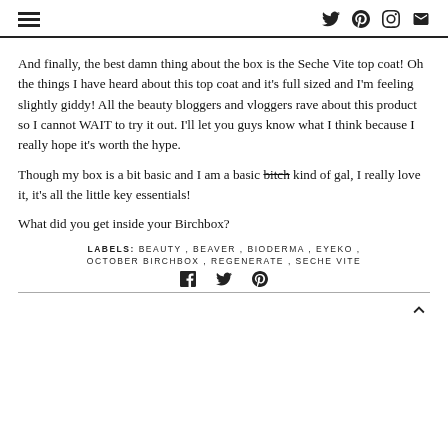[menu icon] [twitter] [pinterest] [instagram] [email]
And finally, the best damn thing about the box is the Seche Vite top coat! Oh the things I have heard about this top coat and it's full sized and I'm feeling slightly giddy! All the beauty bloggers and vloggers rave about this product so I cannot WAIT to try it out. I'll let you guys know what I think because I really hope it's worth the hype.
Though my box is a bit basic and I am a basic bitch [strikethrough] kind of gal, I really love it, it's all the little key essentials!
What did you get inside your Birchbox?
LABELS: BEAUTY , BEAVER , BIODERMA , EYEKO , OCTOBER BIRCHBOX , REGENERATE , SECHE VITE
[facebook] [twitter] [pinterest] [back to top]